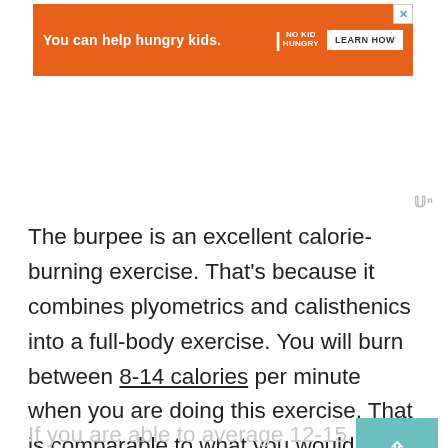[Figure (screenshot): Orange advertisement banner: 'You can help hungry kids. NO KID HUNGRY. LEARN HOW' with a close button (X)]
The burpee is an excellent calorie-burning exercise. That's because it combines plyometrics and calisthenics into a full-body exercise. You will burn between 8-14 calories per minute when you are doing this exercise. That is comparable to what you would get from running on a treadmill or using an elliptical machine. Yet, the burpee requires no equipment at all.
If you are able to average 12-15 burpees per